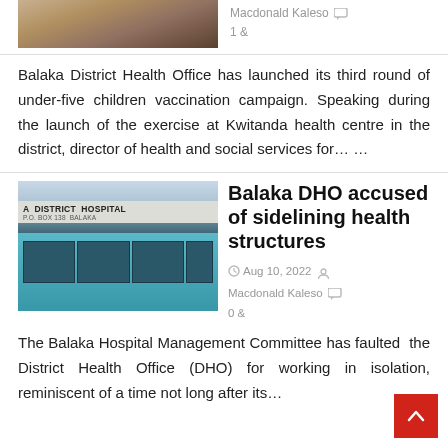[Figure (photo): Partial photo of people, cropped at top of page]
Macdonald Kaleso 1 &
Balaka District Health Office has launched its third round of under-five children vaccination campaign. Speaking during the launch of the exercise at Kwitanda health centre in the district, director of health and social services for… …
[Figure (photo): Photo of Balaka District Hospital building exterior with sign reading 'A DISTRICT HOSPITAL P.O. BOX 138 BALAKA', teal/blue facade with glass windows]
Balaka DHO accused of sidelining health structures
Aug 10, 2022 Macdonald Kaleso 0 &
The Balaka Hospital Management Committee has faulted the District Health Office (DHO) for working in isolation, reminiscent of a time not long after its…